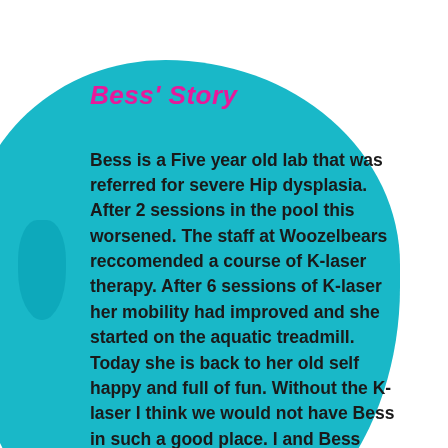Bess' Story
Bess is a Five year old lab that was referred for severe Hip dysplasia. After 2 sessions in the pool this worsened. The staff at Woozelbears reccomended a course of K-laser therapy. After 6 sessions of K-laser her mobility had improved and she started on the aquatic treadmill. Today she is back to her old self happy and full of fun. Without the K-laser I think we would not have Bess in such a good place. I and Bess cant praise it enough and the helpfull team at Woozelbears